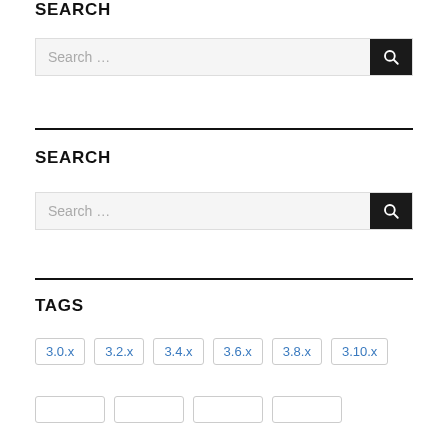SEARCH
[Figure (screenshot): Search input box with magnifying glass button, placeholder text 'Search ...']
SEARCH
[Figure (screenshot): Search input box with magnifying glass button, placeholder text 'Search ...']
TAGS
3.0.x
3.2.x
3.4.x
3.6.x
3.8.x
3.10.x